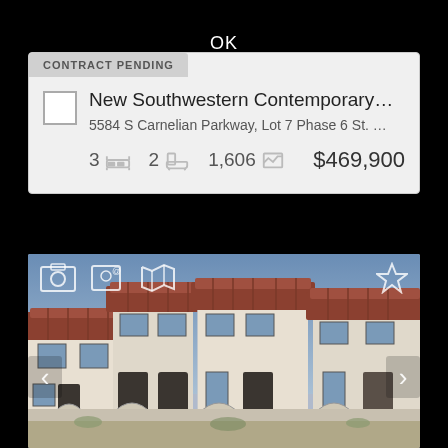OK
CONTRACT PENDING
New Southwestern Contemporary Townho...
5584 S Carnelian Parkway, Lot 7 Phase 6 St. Georg...
3  [bed icon]  2  [bath icon]  1,606  [sqft icon]  $469,900
[Figure (photo): Exterior photo of southwestern contemporary townhomes with stucco finish, arched entries, terracotta tile roofs, and desert landscaping. Navigation arrows on left and right, icon bar at top with photo, contact, map, and star icons.]